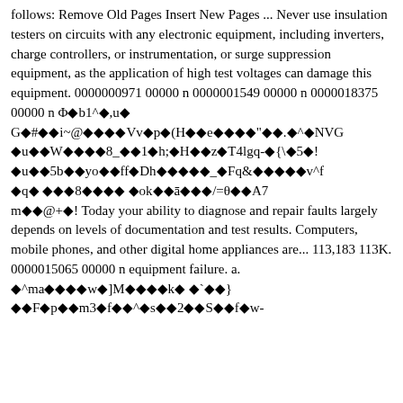follows: Remove Old Pages Insert New Pages ... Never use insulation testers on circuits with any electronic equipment, including inverters, charge controllers, or instrumentation, or surge suppression equipment, as the application of high test voltages can damage this equipment. 0000000971 00000 n 0000001549 00000 n 0000018375 00000 n Φ�b1^�,u� G�#��i~@���Vv�p�(H��e����"��.�^�NVG�u��W���8_��1�h;�H��z�T4lgq-�{\uFFFD5�!�u��5b��yo��ff�Dh�����_�Fq&�����v^f�q� ���8���� �ok��ā���/=θ��A7 m��@+�! Today your ability to diagnose and repair faults largely depends on levels of documentation and test results. Computers, mobile phones, and other digital home appliances are... 113,183 113K. 0000015065 00000 n equipment failure. a. �^ma����w�]M����k� �`��} ��F�p��m3�f��^�s��2��S��f�w-